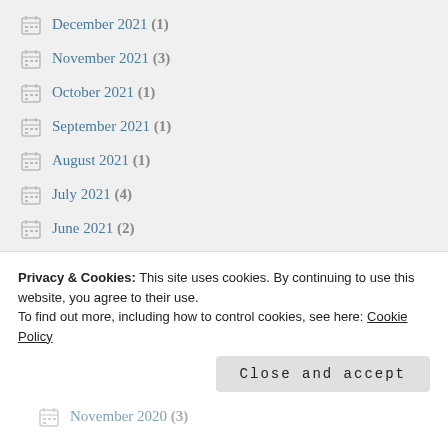December 2021 (1)
November 2021 (3)
October 2021 (1)
September 2021 (1)
August 2021 (1)
July 2021 (4)
June 2021 (2)
May 2021 (5)
April 2021 (1)
November 2020 (3)
Privacy & Cookies: This site uses cookies. By continuing to use this website, you agree to their use.
To find out more, including how to control cookies, see here: Cookie Policy